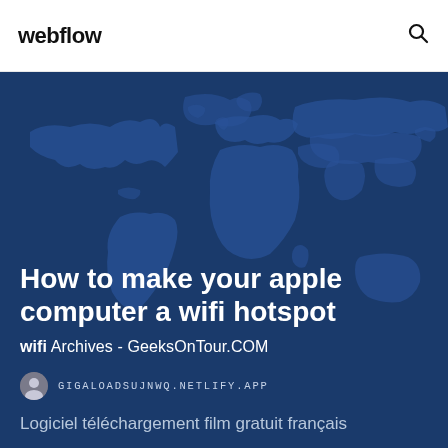webflow
[Figure (illustration): World map silhouette on dark blue background used as hero image]
How to make your apple computer a wifi hotspot
wifi Archives - GeeksOnTour.COM
GIGALOADSUJNWQ.NETLIFY.APP
Logiciel téléchargement film gratuit français